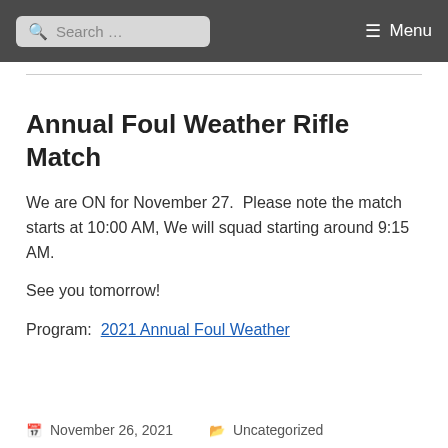Search ... Menu
Annual Foul Weather Rifle Match
We are ON for November 27.  Please note the match starts at 10:00 AM, We will squad starting around 9:15 AM.
See you tomorrow!
Program:  2021 Annual Foul Weather
November 26, 2021   Uncategorized